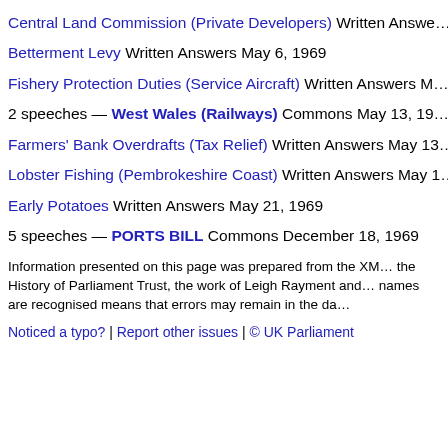Central Land Commission (Private Developers) Written Answers
Betterment Levy Written Answers May 6, 1969
Fishery Protection Duties (Service Aircraft) Written Answers M
2 speeches — West Wales (Railways) Commons May 13, 19
Farmers' Bank Overdrafts (Tax Relief) Written Answers May 13
Lobster Fishing (Pembrokeshire Coast) Written Answers May 1
Early Potatoes Written Answers May 21, 1969
5 speeches — PORTS BILL Commons December 18, 1969
Information presented on this page was prepared from the XML the History of Parliament Trust, the work of Leigh Rayment and names are recognised means that errors may remain in the da
Noticed a typo? | Report other issues | © UK Parliament